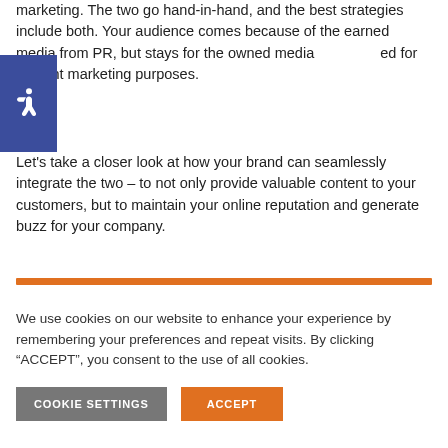marketing. The two go hand-in-hand, and the best strategies include both. Your audience comes because of the earned media from PR, but stays for the owned media [creat]ed for content marketing purposes.
[Figure (illustration): Accessibility icon — white wheelchair symbol on dark blue/indigo square background]
Let's take a closer look at how your brand can seamlessly integrate the two – to not only provide valuable content to your customers, but to maintain your online reputation and generate buzz for your company.
We use cookies on our website to enhance your experience by remembering your preferences and repeat visits. By clicking “ACCEPT”, you consent to the use of all cookies.